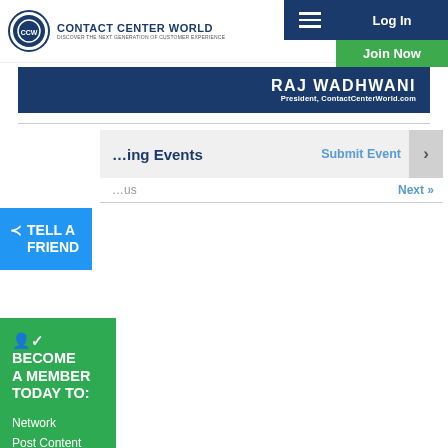Contact Center World — Log In | Join Now
[Figure (screenshot): Contact Center World logo with circular emblem and tagline 'Discover The Next Generation Of Customer Experience']
RAJ WADHWANI
President, ContactCenterWorld.com
TELL A FRIEND
Upcoming Events
Submit Event
Next »
BECOME A MEMBER TODAY TO:
Network
Post Content
Enter Awards
+ Much More